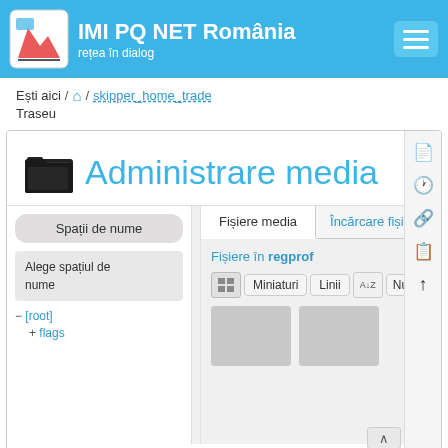IMI PQ NET România — rețea în dialog
Ești aici / [home icon] / skipper_home_trade
Traseu
Administrare media
Fișiere media | Încărcare fișier
Spații de nume
Alege spațiul de nume
Fișiere în regprof
Miniaturi | Linii | Num
− [root]
+ flags